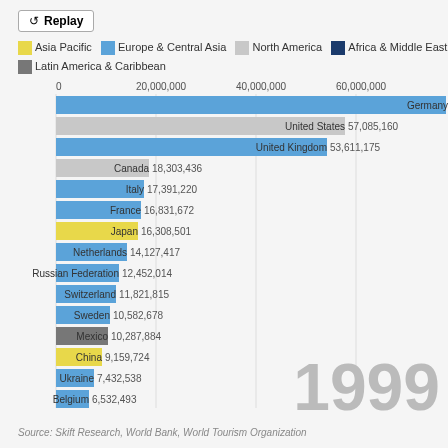[Figure (bar-chart): International tourist arrivals by country, 1999]
Source: Skift Research, World Bank, World Tourism Organization